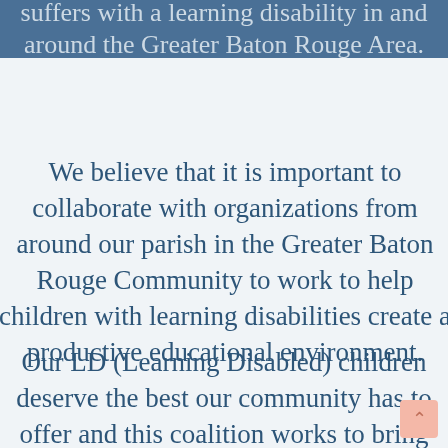suffers with a learning disability in and around the Greater Baton Rouge Area.
We believe that it is important to collaborate with organizations from around our parish in the Greater Baton Rouge Community to work to help children with learning disabilities create a productive educational environment.
Our LD (Learning Disabled) children deserve the best our community has to offer and this coalition works to bring together parents and professionals